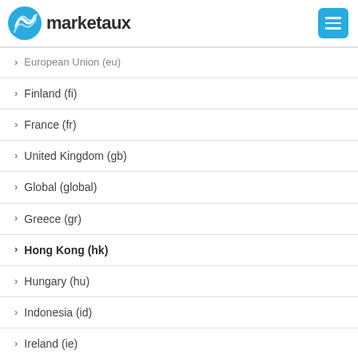marketaux
European Union (eu)
Finland (fi)
France (fr)
United Kingdom (gb)
Global (global)
Greece (gr)
Hong Kong (hk)
Hungary (hu)
Indonesia (id)
Ireland (ie)
Israel (il)